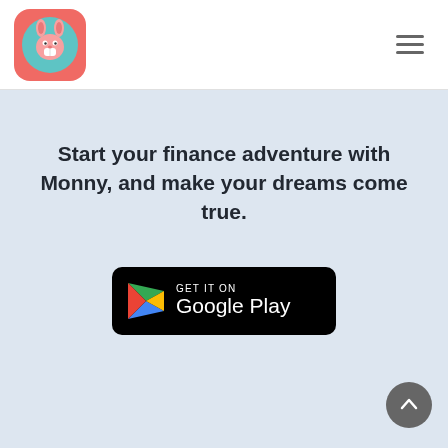[Figure (logo): Monny app logo: pink/red rounded square with a cartoon rabbit mascot on a teal circle background]
[Figure (other): Hamburger menu icon (three horizontal lines)]
Start your finance adventure with Monny, and make your dreams come true.
[Figure (other): GET IT ON Google Play button badge with Google Play triangle logo in red, yellow, green, blue]
[Figure (other): Back to top button: dark grey circle with upward arrow]